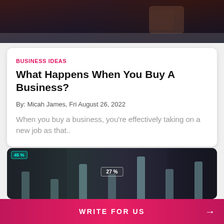[Figure (photo): Top banner photo showing hands using a smartphone/tablet, dark toned background]
BUSINESS IDEAS
What Happens When You Buy A Business?
By: Micah James, Fri August 26, 2022
When you buy a business, you're effectively taking on a new job as that..
[Figure (photo): Business people standing in front of a data visualization with bar charts showing 45% and 27% statistics]
WRITE FOR US